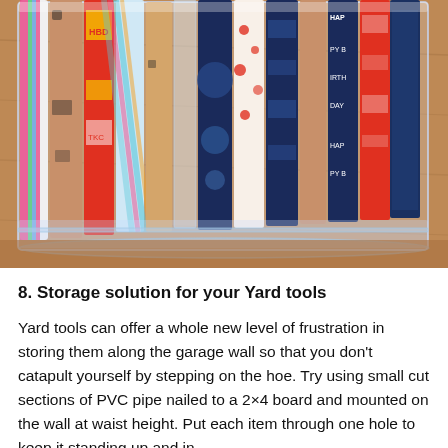[Figure (photo): A collection of colorful rolled wrapping paper tubes stored upright in a clear plastic bag/container, resting on a wooden surface. The rolls show various patterns including stripes, birthday prints, and decorative designs.]
8. Storage solution for your Yard tools
Yard tools can offer a whole new level of frustration in storing them along the garage wall so that you don't catapult yourself by stepping on the hoe. Try using small cut sections of PVC pipe nailed to a 2×4 board and mounted on the wall at waist height. Put each item through one hole to keep it standing up and in